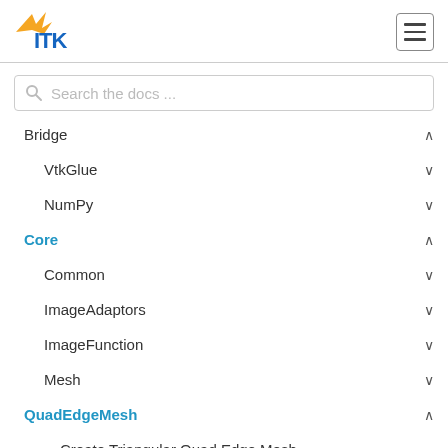ITK
Search the docs ...
Bridge
VtkGlue
NumPy
Core
Common
ImageAdaptors
ImageFunction
Mesh
QuadEdgeMesh
Create Triangular Quad Edge Mesh